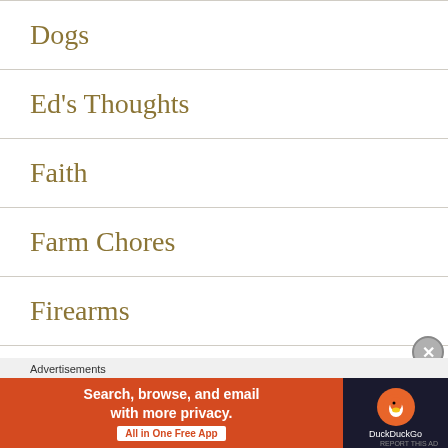Dogs
Ed's Thoughts
Faith
Farm Chores
Firearms
Food
[Figure (screenshot): Advertisement banner: DuckDuckGo ad with text 'Search, browse, and email with more privacy. All in One Free App' on orange background with DuckDuckGo logo on dark background. Labelled 'Advertisements'.]